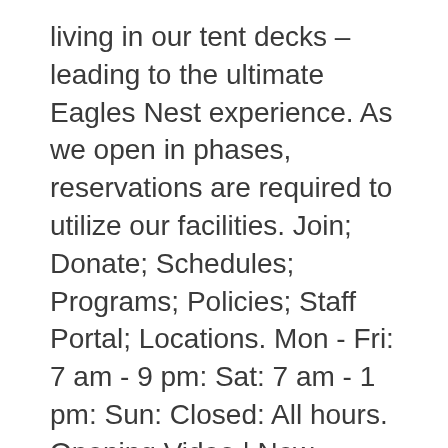living in our tent decks – leading to the ultimate Eagles Nest experience. As we open in phases, reservations are required to utilize our facilities. Join; Donate; Schedules; Programs; Policies; Staff Portal; Locations. Mon - Fri: 7 am - 9 pm: Sat: 7 am - 1 pm: Sun: Closed: All hours. Opening Video | New Zealand YMCA 00:00 CET – Geneva, Switzerland 10:00 NZST -Auckland, New Zealand Find my time zone. Our Mission. The Milton E.W. The Davis Family YMCA has been serving residents of Youngstown, Ohio and surrounding suburbs since its opening in 2003. Lap lane reservations are not required, however, reservations are available for one hour blocks throughout the day to secure your spot. We are